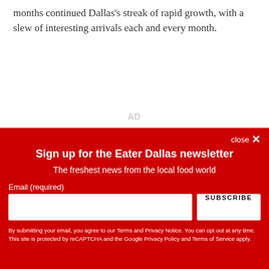months continued Dallas's streak of rapid growth, with a slew of interesting arrivals each and every month.
AD
close ×
Sign up for the Eater Dallas newsletter
The freshest news from the local food world
Email (required)
SUBSCRIBE
By submitting your email, you agree to our Terms and Privacy Notice. You can opt out at any time. This site is protected by reCAPTCHA and the Google Privacy Policy and Terms of Service apply.